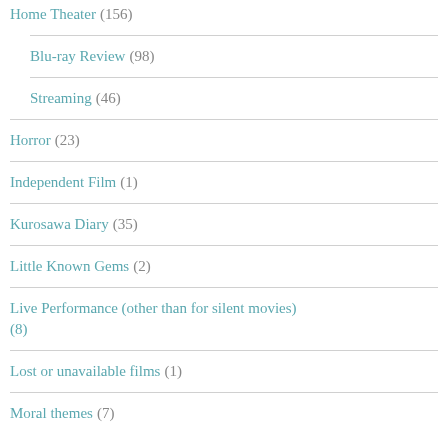Home Theater (156)
Blu-ray Review (98)
Streaming (46)
Horror (23)
Independent Film (1)
Kurosawa Diary (35)
Little Known Gems (2)
Live Performance (other than for silent movies) (8)
Lost or unavailable films (1)
Moral themes (7)